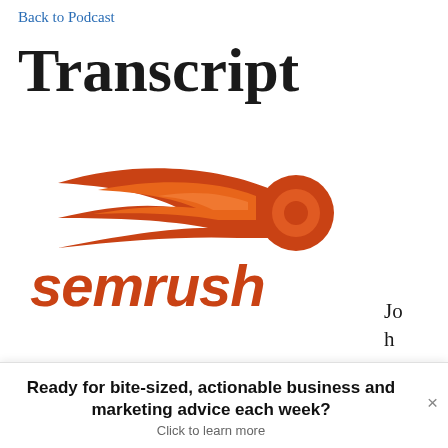Back to Podcast
Transcript
[Figure (logo): SEMrush logo — orange meteor/flame icon above bold italic orange SEMRUSH wordmark]
John Jantsch:
This episode of the Duct Tape Marketing podcast is brought to you by
Ready for bite-sized, actionable business and marketing advice each week?
Click to learn more